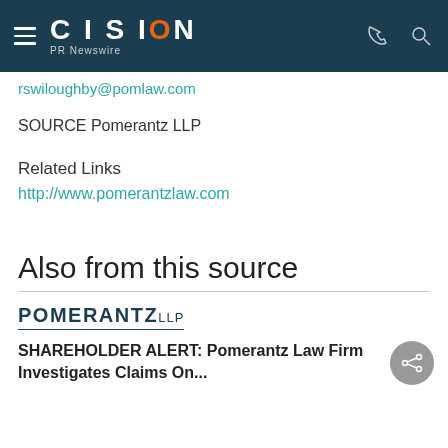CISION PR Newswire
rswiloughby@pomlaw.com
SOURCE Pomerantz LLP
Related Links
http://www.pomerantzlaw.com
Also from this source
[Figure (logo): Pomerantz LLP logo]
SHAREHOLDER ALERT: Pomerantz Law Firm Investigates Claims On...